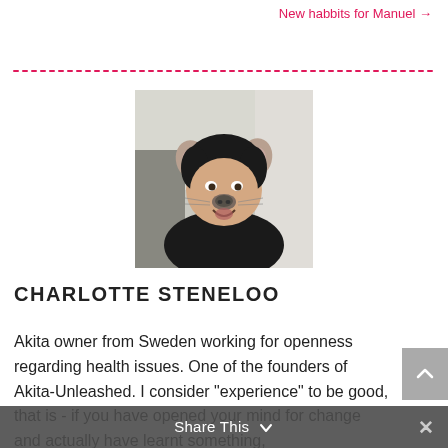New habbits for Manuel →
[Figure (photo): Profile photo of Charlotte Steneloo wearing a dog/bear face filter with animal ears and nose]
CHARLOTTE STENELOO
Akita owner from Sweden working for openness regarding health issues. One of the founders of Akita-Unleashed. I consider "experience" to be good, that is - if you have opened your mind for change and actually have learnt something, otherwise claiming you are "experienced"
Share This ∨